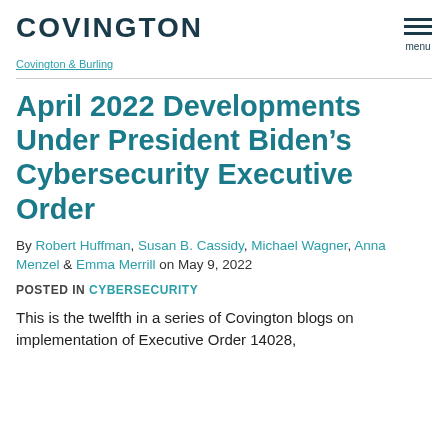COVINGTON
April 2022 Developments Under President Biden’s Cybersecurity Executive Order
By Robert Huffman, Susan B. Cassidy, Michael Wagner, Anna Menzel & Emma Merrill on May 9, 2022
POSTED IN CYBERSECURITY
This is the twelfth in a series of Covington blogs on implementation of Executive Order 14028,